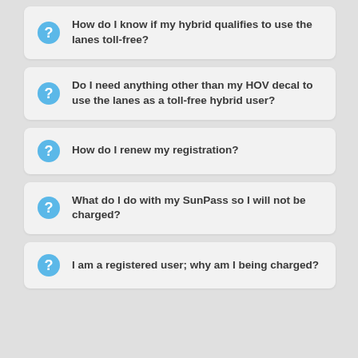How do I know if my hybrid qualifies to use the lanes toll-free?
Do I need anything other than my HOV decal to use the lanes as a toll-free hybrid user?
How do I renew my registration?
What do I do with my SunPass so I will not be charged?
I am a registered user; why am I being charged?